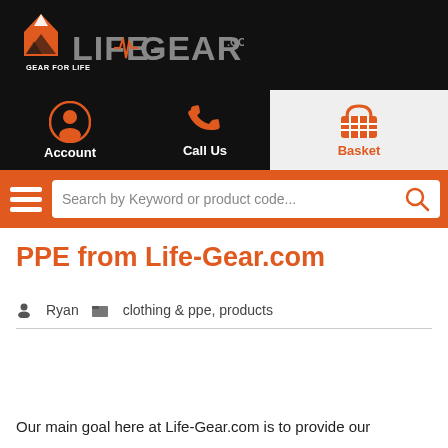[Figure (logo): Life-Gear.com website header with logo showing orange house/mountain icon with 'GEAR FOR LIFE' text, large 'LIFE-GEAR.COM' text in grey with orange heartbeat line, on black background. Below: Account icon, Call Us icon, Basket icon. Orange bar with hamburger menu and search box.]
PPE from Life-Gear.com
Ryan   clothing & ppe,  products
Our main goal here at Life-Gear.com is to provide our